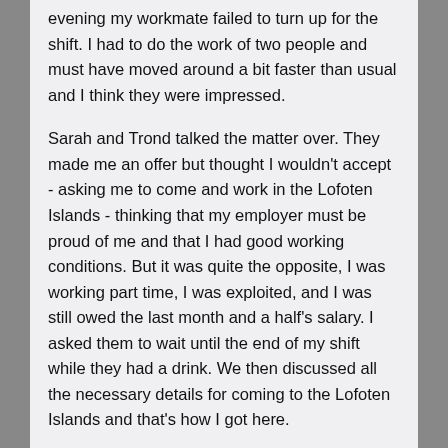evening my workmate failed to turn up for the shift. I had to do the work of two people and must have moved around a bit faster than usual and I think they were impressed.
Sarah and Trond talked the matter over. They made me an offer but thought I wouldn't accept - asking me to come and work in the Lofoten Islands - thinking that my employer must be proud of me and that I had good working conditions. But it was quite the opposite, I was working part time, I was exploited, and I was still owed the last month and a half's salary. I asked them to wait until the end of my shift while they had a drink. We then discussed all the necessary details for coming to the Lofoten Islands and that's how I got here.
*Sarah, la compagne de Trond, est italienne et travaille également dans le restaurant comme serveuse.
D.L: What was your first impression when you arrived?